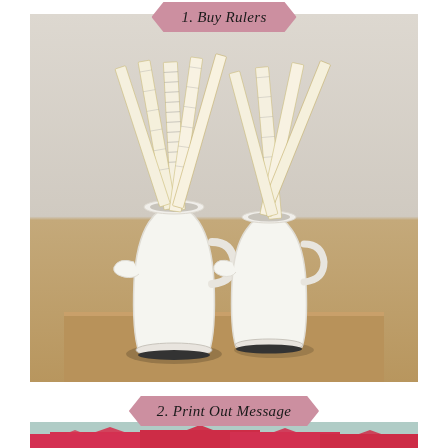1. Buy Rulers
[Figure (photo): Two white enamel pitchers holding multiple wooden rulers, placed on a wooden floor against a white wall background.]
2. Print Out Message
[Figure (photo): Red envelopes scattered on a light teal/blue surface, with handwritten text partially visible on some of the envelopes.]